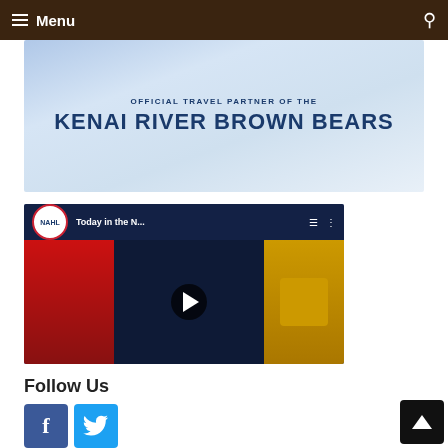Menu
[Figure (illustration): Banner ad reading 'Official Travel Partner of the Kenai River Brown Bears' with cloudy sky background]
[Figure (screenshot): YouTube video thumbnail showing NAHL 'Today in the N...' video with play button]
Follow Us
[Figure (illustration): Facebook and Twitter social media icon buttons]